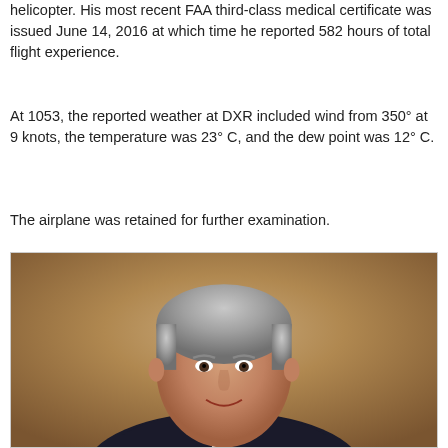helicopter. His most recent FAA third-class medical certificate was issued June 14, 2016 at which time he reported 582 hours of total flight experience.
At 1053, the reported weather at DXR included wind from 350° at 9 knots, the temperature was 23° C, and the dew point was 12° C.
The airplane was retained for further examination.
[Figure (photo): Portrait photo of a middle-aged man with gray hair, smiling, wearing a dark suit, against a brown/tan blurred background.]